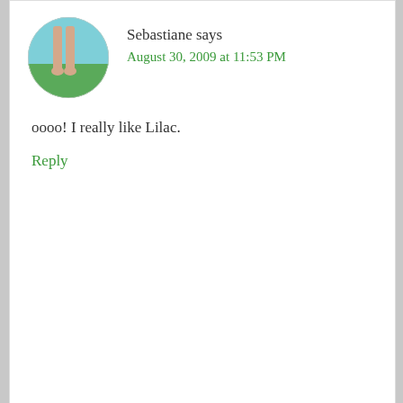[Figure (photo): Circular avatar showing legs/feet standing on grass]
Sebastiane says
August 30, 2009 at 11:53 PM
oooo! I really like Lilac.
Reply
[Figure (photo): Circular avatar showing British and American flags with shoes on grass]
British American says
August 31, 2009 at 1:01 AM
Yes, you can leave the (US) hospital without naming your baby. I think I remember that you have up to one year to file the paperwork, though
maybe it varies by state.